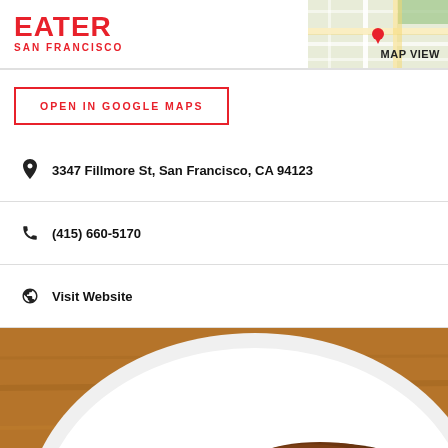EATER SAN FRANCISCO
[Figure (map): Google Maps thumbnail showing street map area for San Francisco location]
OPEN IN GOOGLE MAPS
3347 Fillmore St, San Francisco, CA 94123
(415) 660-5170
Visit Website
[Figure (photo): Food photo showing a breaded pork cutlet with brown curry sauce on a white plate, with red pickled vegetables on the side]